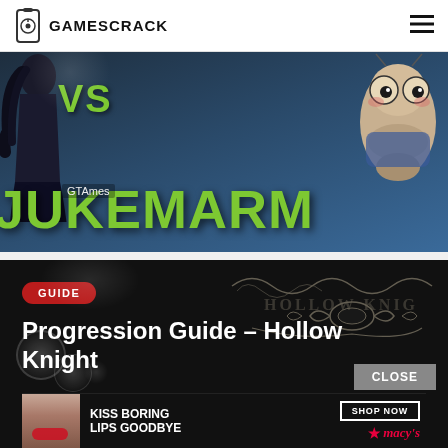GAMESCRACK
[Figure (screenshot): Game banner with VS JUKEMARM text in green, dark female figure on left, cartoon bug creature on right, GTAmes watermark]
[Figure (screenshot): Dark Hollow Knight game article card with GUIDE badge in red, title 'Progression Guide - Hollow Knight', ornamental Hollow Knight logo text, bokeh light effects, CLOSE button, and Macy's advertisement at bottom]
GTAmes
Progression Guide – Hollow Knight